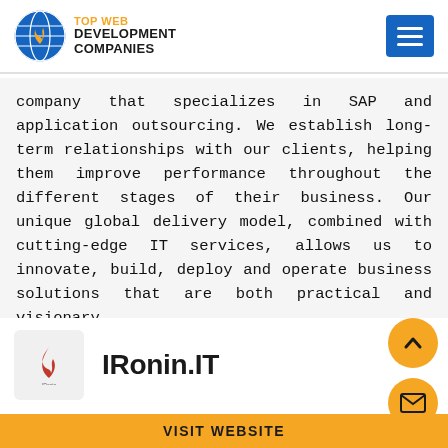[Figure (logo): Top Web Development Companies logo with globe icon and flame, alongside hamburger menu button]
company that specializes in SAP and application outsourcing. We establish long-term relationships with our clients, helping them improve performance throughout the different stages of their business. Our unique global delivery model, combined with cutting-edge IT services, allows us to innovate, build, deploy and operate business solutions that are both practical and visionary.
IRonin.IT
VISIT WEBSITE